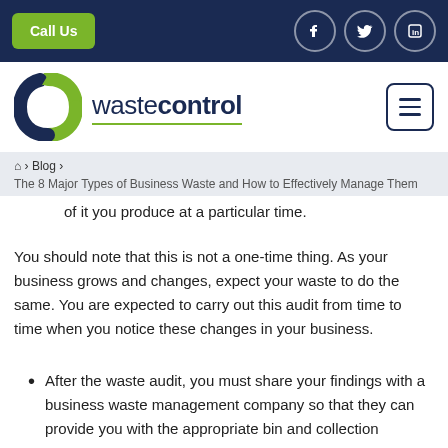Call Us | Facebook | Twitter | LinkedIn
[Figure (logo): Waste Control logo with green and navy circular arrow icon and text 'wastecontrol' underlined in green]
Home > Blog > The 8 Major Types of Business Waste and How to Effectively Manage Them
you produce, the quantity of this waste, and how much of it you produce at a particular time.
You should note that this is not a one-time thing. As your business grows and changes, expect your waste to do the same. You are expected to carry out this audit from time to time when you notice these changes in your business.
After the waste audit, you must share your findings with a business waste management company so that they can provide you with the appropriate bin and collection